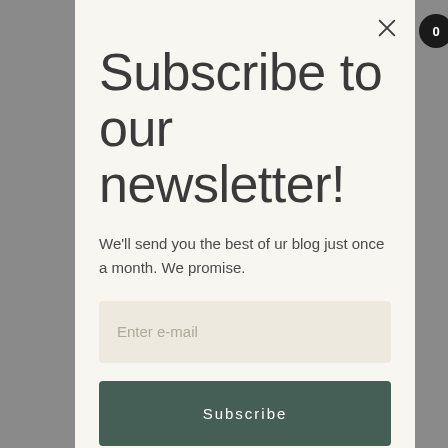Subscribe to our newsletter!
We'll send you the best of ur blog just once a month. We promise.
Enter e-mail
Subscribe